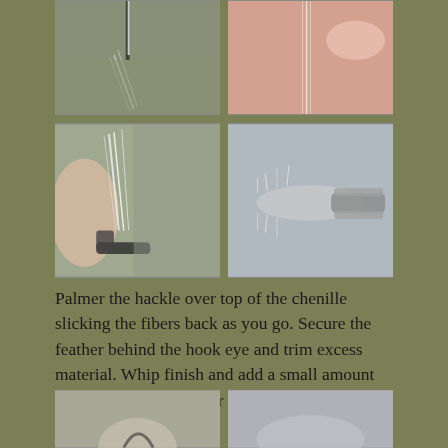[Figure (photo): Two photos at top showing fly tying steps with thread and feather material on hook]
[Figure (photo): Two photos in middle row showing close-up of hackle being palmered over chenille on fishing fly with tools/pliers]
Palmer the hackle over top of the chenille slicking the fibers back as you go. Secure the feather behind the hook eye and trim excess material. Whip finish and add a small amount of glue to finish the rear portion of this fly.
[Figure (photo): Two partial photos at bottom showing additional fly tying steps]